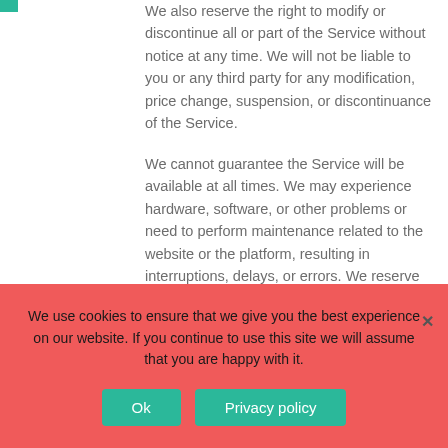We also reserve the right to modify or discontinue all or part of the Service without notice at any time. We will not be liable to you or any third party for any modification, price change, suspension, or discontinuance of the Service.
We cannot guarantee the Service will be available at all times. We may experience hardware, software, or other problems or need to perform maintenance related to the website or the platform, resulting in interruptions, delays, or errors. We reserve the right to change, revise, update, suspend, discontinue, or otherwise modify the Service at any time or for any
We use cookies to ensure that we give you the best experience on our website. If you continue to use this site we will assume that you are happy with it.